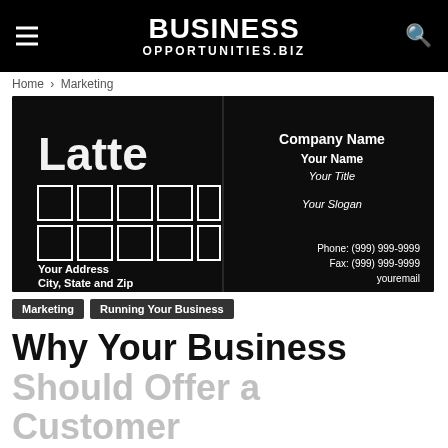BUSINESS OPPORTUNITIES.BIZ
Home › Marketing
[Figure (photo): Business card template with dark coffee bean background. Left side shows 'Latte' logo text with 10 loyalty stamp squares (2 rows of 5), 'Your Address', 'City, State and Zip'. Right side shows 'Company Name', 'Your Name', 'Your Title', 'Your Slogan', 'Phone: (999) 999-9999', 'Fax: (999) 999-9999', 'youremail'.]
Marketing
Running Your Business
Why Your Business Should Offer a Customer Loyalty Program